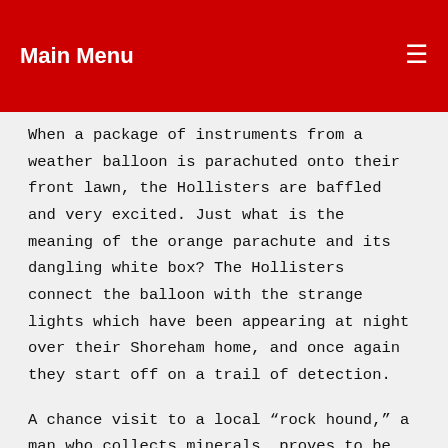Main Menu
When a package of instruments from a weather balloon is parachuted onto their front lawn, the Hollisters are baffled and very excited. Just what is the meaning of the orange parachute and its dangling white box? The Hollisters connect the balloon with the strange lights which have been appearing at night over their Shoreham home, and once again they start off on a trail of detection.
A chance visit to a local “rock hound,” a man who collects minerals, proves to be the clue to the puzzle. Then their detective work takes them to a fantastic, spooky rock quarry which turns out to